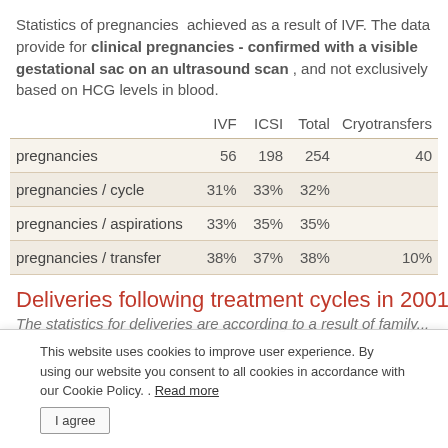Statistics of pregnancies achieved as a result of IVF. The data provide for clinical pregnancies - confirmed with a visible gestational sac on an ultrasound scan , and not exclusively based on HCG levels in blood.
|  | IVF | ICSI | Total | Cryotransfers |
| --- | --- | --- | --- | --- |
| pregnancies | 56 | 198 | 254 | 40 |
| pregnancies / cycle | 31% | 33% | 32% |  |
| pregnancies / aspirations | 33% | 35% | 35% |  |
| pregnancies / transfer | 38% | 37% | 38% | 10% |
Deliveries following treatment cycles in 2001
The statistics for deliveries are according to a result of family...
This website uses cookies to improve user experience. By using our website you consent to all cookies in accordance with our Cookie Policy. . Read more